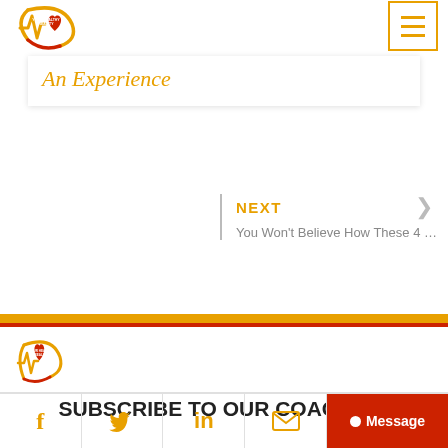[Figure (logo): Your Healthy Reality logo with heartbeat line and heart icon]
[Figure (other): Hamburger menu button with three horizontal orange lines inside orange border]
An Experience
NEXT
You Won't Believe How These 4 …
[Figure (logo): Your Healthy Reality small footer logo]
SUBSCRIBE TO OUR COACHING
Facebook | Twitter | LinkedIn | Email | Message